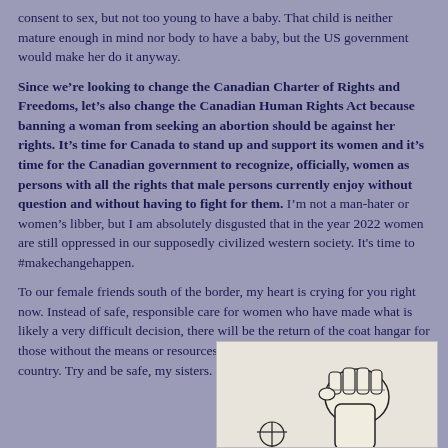consent to sex, but not too young to have a baby.  That child is neither mature enough in mind nor body to have a baby, but the US government would make her do it anyway.
Since we're looking to change the Canadian Charter of Rights and Freedoms, let's also change the Canadian Human Rights Act because banning a woman from seeking an abortion should be against her rights.  It's time for Canada to stand up and support its women and it's time for the Canadian government to recognize, officially, women as persons with all the rights that male persons currently enjoy without question and without having to fight for them.  I'm not a man-hater or women's libber, but I am absolutely disgusted that in the year 2022 women are still oppressed in our supposedly civilized western society.   It's time to #makechangehappen.
To our female friends south of the border, my heart is crying for you right now.  Instead of safe, responsible care for women who have made what is likely a very difficult decision, there will be the return of the coat hangar for those without the means or resources to seek help in another state or country.  Try and be safe, my sisters.
[Figure (illustration): Black and white illustration showing a raised fist holding something, partial view at bottom right of page]